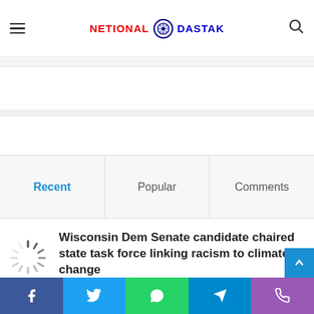time 1 comment.
NETIONAL DASTAK (logo with Ashoka Chakra)
Recent | Popular | Comments
Wisconsin Dem Senate candidate chaired state task force linking racism to climate change
2 mins ago
Facebook | Twitter | WhatsApp | Telegram | Phone